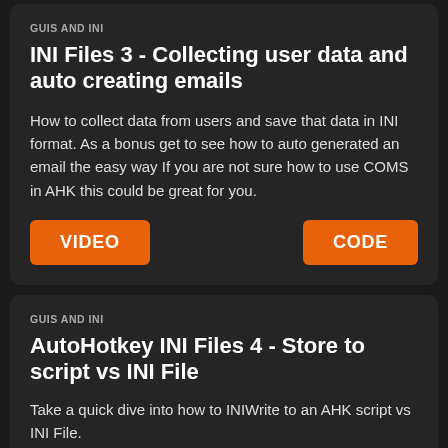GUIS AND INI
INI Files 3 - Collecting user data and auto creating emails
How to collect data from users and save that data in INI format. As a bonus get to see how to auto generated an email the easy way If you are not sure how to use COMS in AHK this could be great for you.
VIDEO
CODE
GUIS AND INI
AutoHotkey INI Files 4 - Store to script vs INI File
Take a quick dive into how to INIWrite to an AHK script vs INI File.